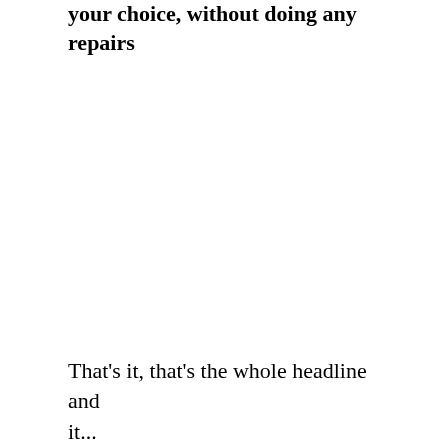your choice, without doing any repairs
That's it, that's the whole headline and it...